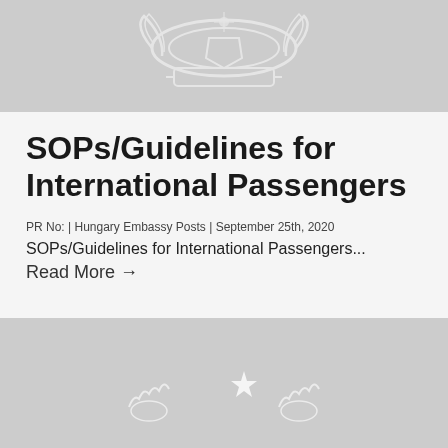[Figure (illustration): Government emblem/seal image with decorative crest, white on light gray background]
SOPs/Guidelines for International Passengers
PR No: | Hungary Embassy Posts | September 25th, 2020
SOPs/Guidelines for International Passengers...
Read More →
[Figure (illustration): Pakistan flag emblem with crescent moon and star, white on light gray background]